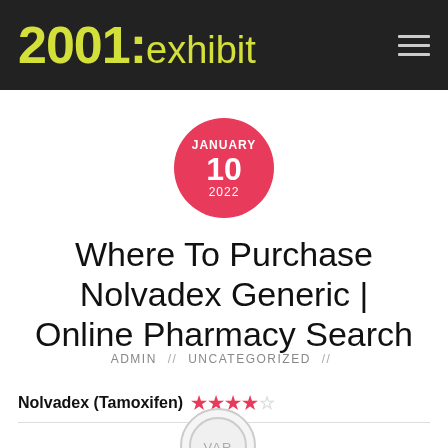2001:exhibit
JANUARY 10 2022
Where To Purchase Nolvadex Generic | Online Pharmacy Search
ADMIN // Uncategorized //
Nolvadex (Tamoxifen) ★★★★☆
[Figure (logo): Circular logo with letters V A R inside, gray border]